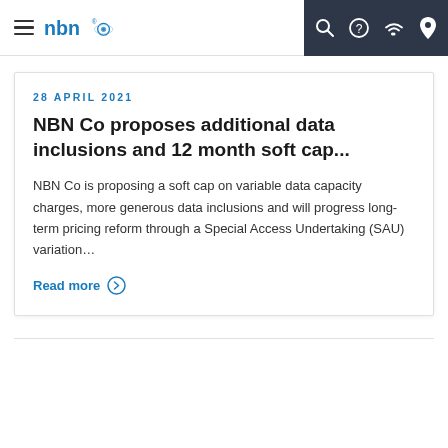nbn — navigation bar with hamburger menu, logo, and icons for search, help, wifi, location
28 APRIL 2021
NBN Co proposes additional data inclusions and 12 month soft cap...
NBN Co is proposing a soft cap on variable data capacity charges, more generous data inclusions and will progress long-term pricing reform through a Special Access Undertaking (SAU) variation...
Read more >